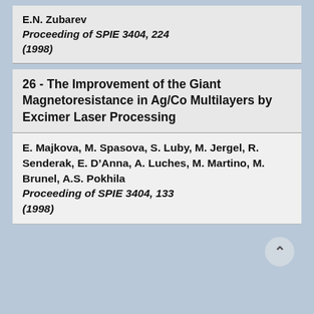E.N. Zubarev
Proceeding of SPIE 3404, 224 (1998)
26 - The Improvement of the Giant Magnetoresistance in Ag/Co Multilayers by Excimer Laser Processing
E. Majkova, M. Spasova, S. Luby, M. Jergel, R. Senderak, E. D’Anna, A. Luches, M. Martino, M. Brunel, A.S. Pokhila
Proceeding of SPIE 3404, 133 (1998)